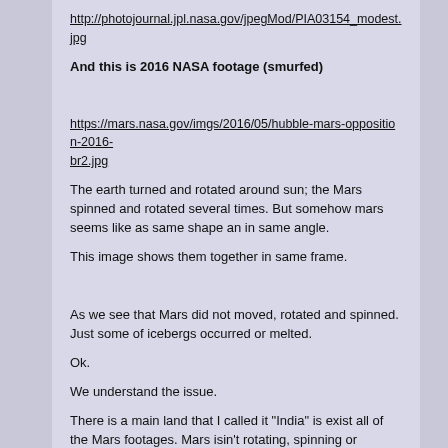http://photojournal.jpl.nasa.gov/jpegMod/PIA03154_modest.jpg
And this is 2016 NASA footage (smurfed)
https://mars.nasa.gov/imgs/2016/05/hubble-mars-opposition-2016-br2.jpg
The earth turned and rotated around sun; the Mars spinned and rotated several times. But somehow mars seems like as same shape an in same angle.
This image shows them together in same frame.
As we see that Mars did not moved, rotated and spinned. Just some of icebergs occurred or melted.
Ok.
We understand the issue.
There is a main land that I called it "India" is exist all of the Mars footages. Mars isin't rotating, spinning or moving to anywhere. Its completely stable.
For be sure about it, take a look to amateur obversations: